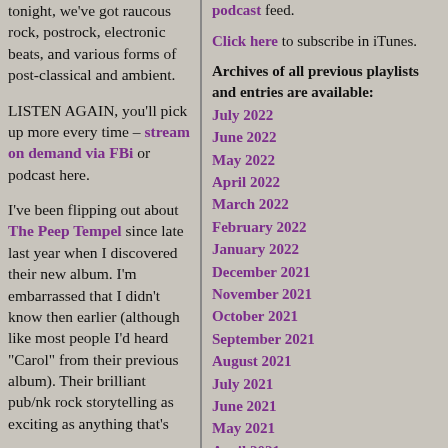tonight, we've got raucous rock, postrock, electronic beats, and various forms of post-classical and ambient.
LISTEN AGAIN, you'll pick up more every time – stream on demand via FBi or podcast here.
I've been flipping out about The Peep Tempel since late last year when I discovered their new album. I'm embarrassed that I didn't know then earlier (although like most people I'd heard "Carol" from their previous album). Their brilliant pub/nk rock storytelling as exciting as anything that's
podcast feed.
Click here to subscribe in iTunes.
Archives of all previous playlists and entries are available:
July 2022
June 2022
May 2022
April 2022
March 2022
February 2022
January 2022
December 2021
November 2021
October 2021
September 2021
August 2021
July 2021
June 2021
May 2021
April 2021
March 2021
February 2021
January 2021
December 2020
November 2020
October 2020
September 2020
August 2020